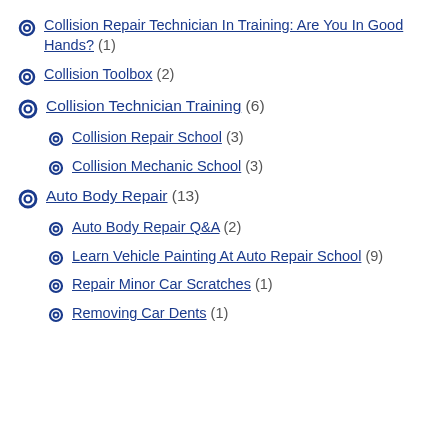Collision Repair Technician In Training: Are You In Good Hands? (1)
Collision Toolbox (2)
Collision Technician Training (6)
Collision Repair School (3)
Collision Mechanic School (3)
Auto Body Repair (13)
Auto Body Repair Q&A (2)
Learn Vehicle Painting At Auto Repair School (9)
Repair Minor Car Scratches (1)
Removing Car Dents (1)